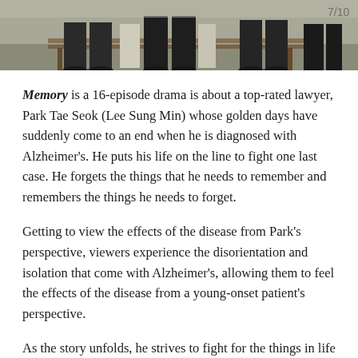[Figure (photo): A partial photo showing people seated on a bench outdoors, visible from approximately waist down. Dark trousers visible, outdoor setting with grass.]
Memory is a 16-episode drama is about a top-rated lawyer, Park Tae Seok (Lee Sung Min) whose golden days have suddenly come to an end when he is diagnosed with Alzheimer's. He puts his life on the line to fight one last case. He forgets the things that he needs to remember and remembers the things he needs to forget.
Getting to view the effects of the disease from Park's perspective, viewers experience the disorientation and isolation that come with Alzheimer's, allowing them to feel the effects of the disease from a young-onset patient's perspective.
As the story unfolds, he strives to fight for the things in life that matter to him and brings those around him closer